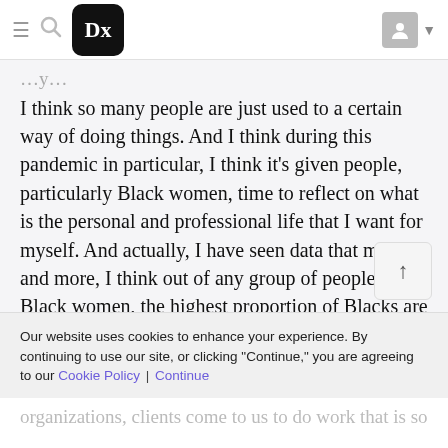Dx (logo header with hamburger, search, and user icon)
I think so many people are just used to a certain way of doing things. And I think during this pandemic in particular, I think it's given people, particularly Black women, time to reflect on what is the personal and professional life that I want for myself. And actually, I have seen data that more and more, I think out of any group of people, Black women, the highest proportion of Blacks are the high proportion of new business owners. And so that was exciting to see, and I totally get it.
Our website uses cookies to enhance your experience. By continuing to use our site, or clicking "Continue," you are agreeing to our Cookie Policy | Continue
organizations, clients come to us to do work that is so